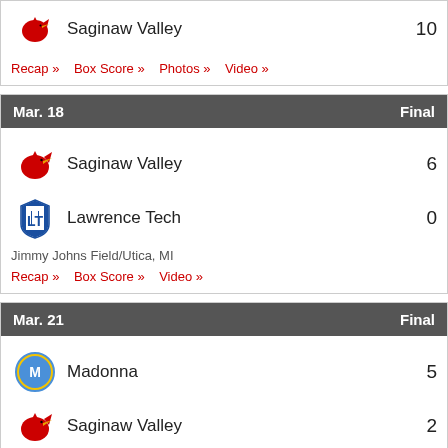Saginaw Valley 10
Recap » Box Score » Photos » Video »
Mar. 18  Final
Saginaw Valley 6
Lawrence Tech 0
Jimmy Johns Field/Utica, MI
Recap » Box Score » Video »
Mar. 21  Final
Madonna 5
Saginaw Valley 2
Recap » Box Score » Photos » Video »
Mar. 25  Final